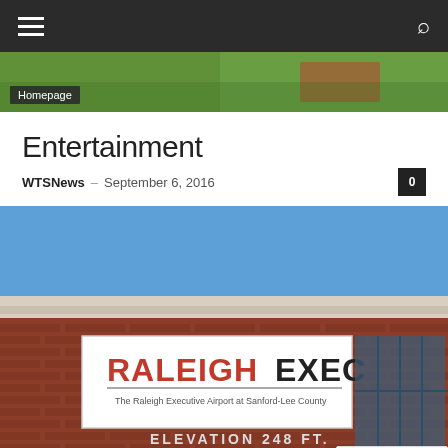Homepage
Entertainment
WTSNews – September 6, 2016   0
[Figure (photo): Exterior photo of a brick building showing a sign reading RALEIGH EXEC – The Raleigh Executive Airport at Sanford-Lee County, with text below reading ELEVATION 248 FT.]